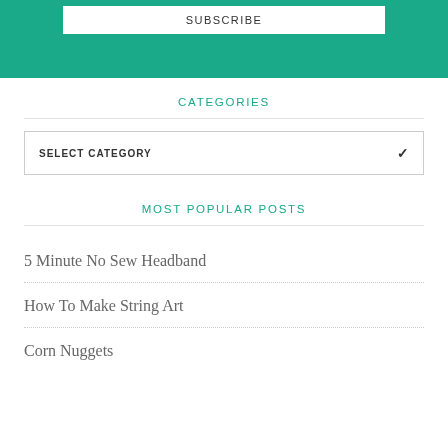[Figure (other): Green teal subscribe button/banner at top of page with white SUBSCRIBE button inside]
CATEGORIES
SELECT CATEGORY
MOST POPULAR POSTS
5 Minute No Sew Headband
How To Make String Art
Corn Nuggets